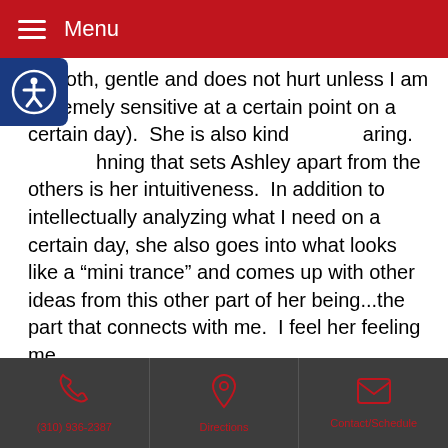Menu
smooth, gentle and does not hurt unless I am extremely sensitive at a certain point on a certain day).  She is also kind and caring.
hing that sets Ashley apart from the others is her intuitiveness.  In addition to intellectually analyzing what I need on a certain day, she also goes into what looks like a “mini trance” and comes up with other ideas from this other part of her being...the part that connects with me.  I feel her feeling me.
While Ashley has treated me for many things, the most creative and valuable thing she did was ascertain that my parasympathetic nervous system needed stimulation for me to calm down, ground and get well.  Ashley’s treatments taught my body to turn on my parasympathetic nervous system and let it do its job and turn down/off my sympathetic
(310) 936-2387 | Directions | Contact/Schedule